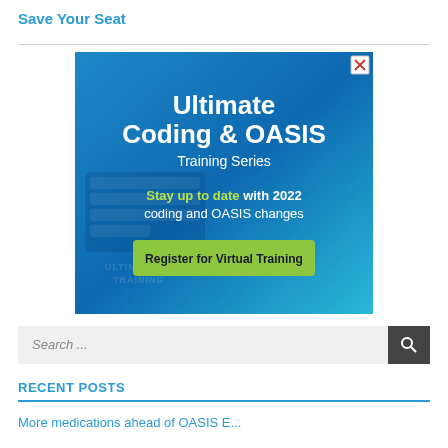Save Your Seat
[Figure (illustration): Advertisement banner for 'Ultimate Coding & OASIS Training Series' with text 'Stay up to date with 2022 coding and OASIS changes' and a green 'Register for Virtual Training' button on a blue background]
Search ...
RECENT POSTS
More medications ahead of OASIS E...